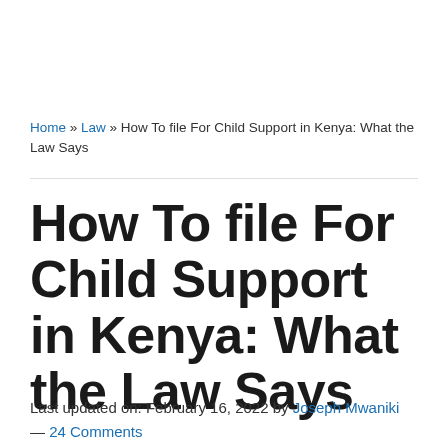Home » Law » How To file For Child Support in Kenya: What the Law Says
How To file For Child Support in Kenya: What the Law Says
Last updated on: February 16, 2022 by Joseph Mwaniki — 24 Comments